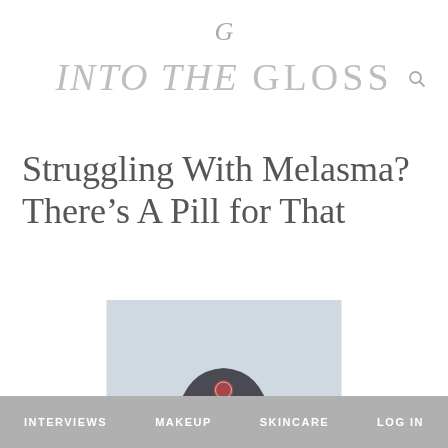G (logo icon)
INTO THE GLOSS
Struggling With Melasma? There's A Pill for That
[Figure (photo): A person covering their face with their hands, wearing a dark baseball cap with a logo patch, braided hair, and a red top, against a light blue-grey background.]
INTERVIEWS   MAKEUP   SKINCARE   LOG IN